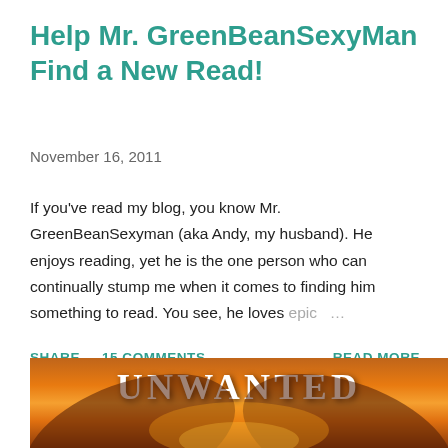Help Mr. GreenBeanSexyMan Find a New Read!
November 16, 2011
If you've read my blog, you know Mr. GreenBeanSexyman (aka Andy, my husband). He enjoys reading, yet he is the one person who can continually stump me when it comes to finding him something to read. You see, he loves epic …
SHARE   15 COMMENTS   READ MORE
[Figure (photo): Book cover image showing the word UNWANTED in large letters with wing and fire imagery]